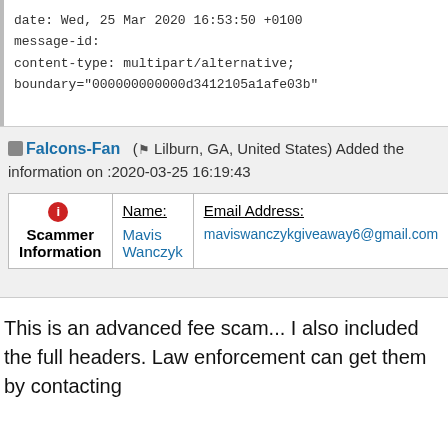date: Wed, 25 Mar 2020 16:53:50 +0100
message-id:
content-type: multipart/alternative;
boundary="000000000000d3412105a1afe03b"
Falcons-Fan ( Lilburn, GA, United States) Added the information on :2020-03-25 16:19:43
| Scammer Information | Name: | Email Address: |
| --- | --- | --- |
|  | Mavis Wanczyk | maviswanczykgiveaway6@gmail.com |
This is an advanced fee scam... I also included the full headers. Law enforcement can get them by contacting